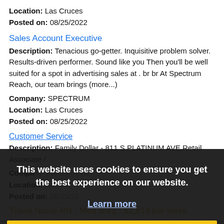Location: Las Cruces
Posted on: 08/25/2022
Sales Account Executive
Description: Tenacious go-getter. Inquisitive problem solver. Results-driven performer. Sound like you Then you'll be well suited for a spot in advertising sales at . br br At Spectrum Reach, our team brings (more...)
Company: SPECTRUM
Location: Las Cruces
Posted on: 08/25/2022
Customer Service
Description: Family Dollar - 811 S PLATINUM AVE Retail Associate /
Company: Family Dollar
Location: Deming
Posted on: 08/25/20...
Travel Nurse RN - Med Surg - $2,614 per week
Description: Assured Nursing is seeking a travel nurse RN Med Surg for a travel nursing job in Alamogordo, New Mexico Job Description Requirements ul li Specialty...
Company: Assured Nursing
This website uses cookies to ensure you get the best experience on our website.
Learn more
Got it!